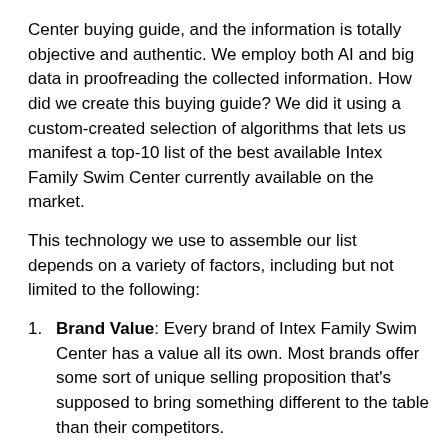Center buying guide, and the information is totally objective and authentic. We employ both AI and big data in proofreading the collected information. How did we create this buying guide? We did it using a custom-created selection of algorithms that lets us manifest a top-10 list of the best available Intex Family Swim Center currently available on the market.
This technology we use to assemble our list depends on a variety of factors, including but not limited to the following:
Brand Value: Every brand of Intex Family Swim Center has a value all its own. Most brands offer some sort of unique selling proposition that's supposed to bring something different to the table than their competitors.
Features: What bells and whistles matter for an Intex Family Swim Center?